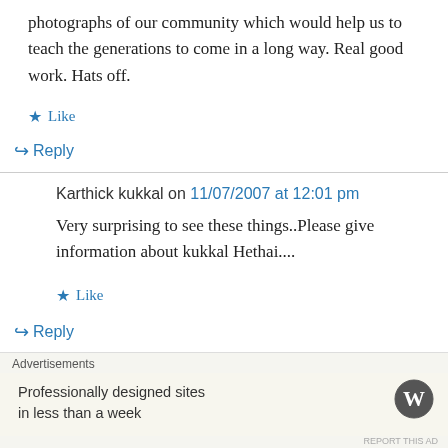photographs of our community which would help us to teach the generations to come in a long way. Real good work. Hats off.
Like
Reply
Karthick kukkal on 11/07/2007 at 12:01 pm
Very surprising to see these things..Please give information about kukkal Hethai....
Like
Reply
Advertisements
Professionally designed sites in less than a week